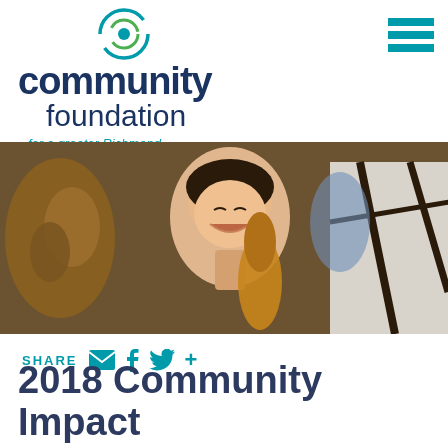[Figure (logo): Community Foundation for a greater Richmond logo with circular icon in green/teal and dark navy text]
[Figure (photo): A smiling young woman playing cello with other musicians in background]
SHARE
2018 Community Impact